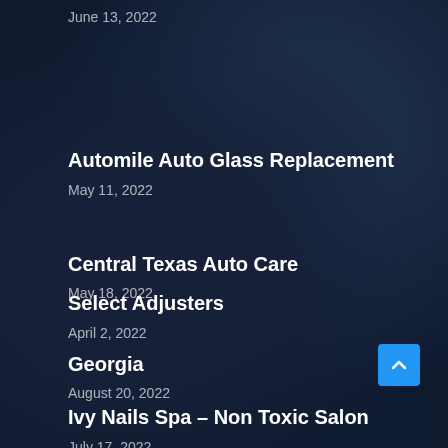June 13, 2022
Automile Auto Glass Replacement
May 11, 2022
Central Texas Auto Care
May 18, 2022
Georgia
August 20, 2022
Select Adjusters
April 2, 2022
Ivy Nails Spa – Non Toxic Salon
July 17, 2022